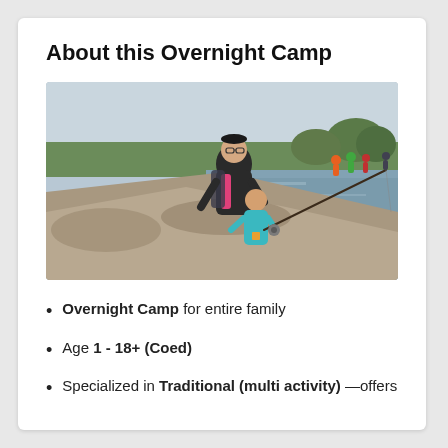About this Overnight Camp
[Figure (photo): An adult and a young child smiling and holding a fishing rod together on a rocky lakeside. Several other people are visible in the background near the water. Trees line the far shore.]
Overnight Camp for entire family
Age 1 - 18+ (Coed)
Specialized in Traditional (multi activity) —offers